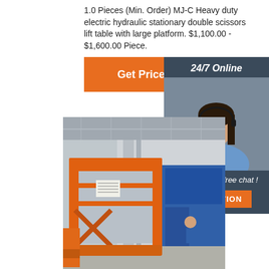1.0 Pieces (Min. Order) MJ-C Heavy duty electric hydraulic stationary double scissors lift table with large platform. $1,100.00 - $1,600.00 Piece.
[Figure (screenshot): Orange button labeled 'Get Price']
[Figure (illustration): Sidebar with '24/7 Online' header, photo of female customer service agent with headset, 'Click here for free chat!' text, and orange 'QUOTATION' button on dark background]
[Figure (photo): Orange heavy-duty hydraulic stationary double scissors lift table with large platform in an industrial warehouse setting. Blue machinery visible in background.]